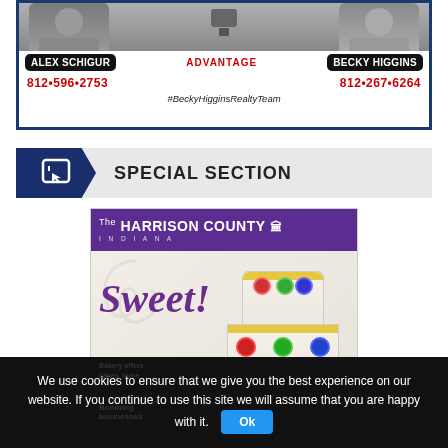[Figure (advertisement): Real estate advertisement for Alex Schigur and Becky Higgins with photos, names, phone numbers 812•596•2753 and 812•267•6264, ADVANTAGE branding, and #BeckyHigginsRealtyTeam hashtag]
SPECIAL SECTION
[Figure (photo): Harrison County Indiana magazine cover showing a colorful decorated cake with the word 'Sweet!' in purple italic text, text 'Bakery offers cakes, more' and 'Booming Businesses']
We use cookies to ensure that we give you the best experience on our website. If you continue to use this site we will assume that you are happy with it. Ok